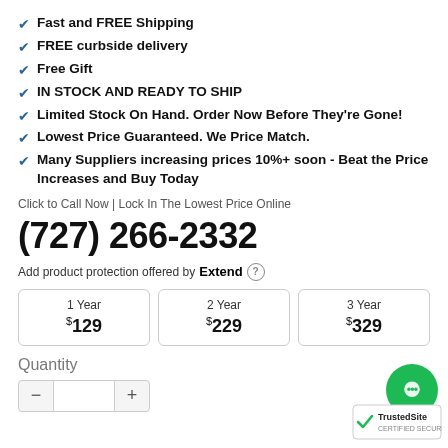Fast and FREE Shipping
FREE curbside delivery
Free Gift
IN STOCK AND READY TO SHIP
Limited Stock On Hand. Order Now Before They're Gone!
Lowest Price Guaranteed. We Price Match.
Many Suppliers increasing prices 10%+ soon - Beat the Price Increases and Buy Today
Click to Call Now | Lock In The Lowest Price Online
(727) 266-2332
Add product protection offered by Extend
| 1 Year | 2 Year | 3 Year |
| --- | --- | --- |
| $129 | $229 | $329 |
Quantity